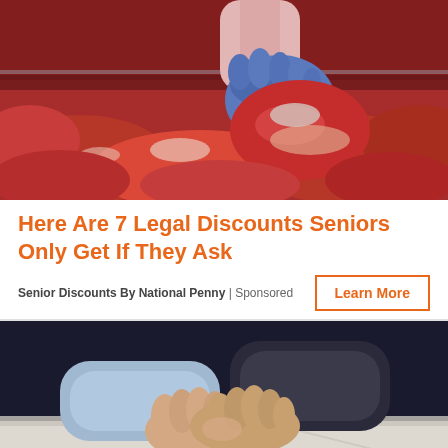[Figure (photo): A gloved hand (blue/purple nitrile glove) lifting a large cut of raw red meat from a meat display case filled with various cuts of raw meat.]
Here Are 7 Legal Discounts Seniors Only Get If They Ask
Senior Discounts By National Penny | Sponsored
[Figure (photo): Close-up of two people holding hands — one person in a blue shirt, one in dark clothing — on what appears to be a white surface or bed.]